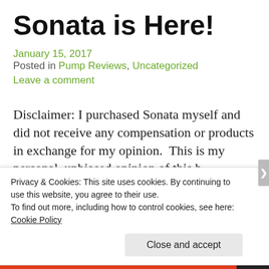Sonata is Here!
January 15, 2017
Posted in Pump Reviews, Uncategorized
Leave a comment
Disclaimer: I purchased Sonata myself and did not receive any compensation or products in exchange for my opinion.  This is my personal, unbiased opinion of this breast pump. I encourage anyone considering
Privacy & Cookies: This site uses cookies. By continuing to use this website, you agree to their use.
To find out more, including how to control cookies, see here: Cookie Policy
Close and accept